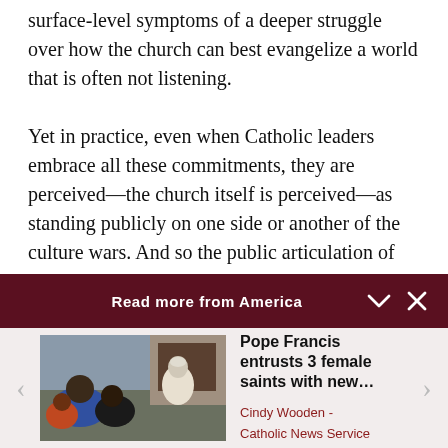surface-level symptoms of a deeper struggle over how the church can best evangelize a world that is often not listening.

Yet in practice, even when Catholic leaders embrace all these commitments, they are perceived—the church itself is perceived—as standing publicly on one side or another of the culture wars. And so the public articulation of
Read more from America
[Figure (photo): Photo of Pope Francis meeting with a group of people in a formal room setting]
Pope Francis entrusts 3 female saints with new… Cindy Wooden - Catholic News Service